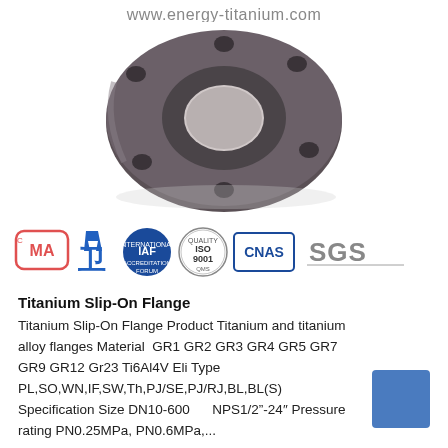www.energy-titanium.com
[Figure (photo): Titanium slip-on flange, circular ring shape, dark metallic finish with bolt holes, viewed from front angle]
[Figure (logo): Certification logos: CMA, quality mark, IAF, ISO 9001, CNAS, SGS]
Titanium Slip-On Flange
Titanium Slip-On Flange Product Titanium and titanium alloy flanges Material  GR1 GR2 GR3 GR4 GR5 GR7 GR9 GR12 Gr23 Ti6Al4V Eli Type PL,SO,WN,IF,SW,Th,PJ/SE,PJ/RJ,BL,BL(S) Specification Size DN10-600      NPS1/2"-24" Pressure rating PN0.25MPa, PN0.6MPa,...